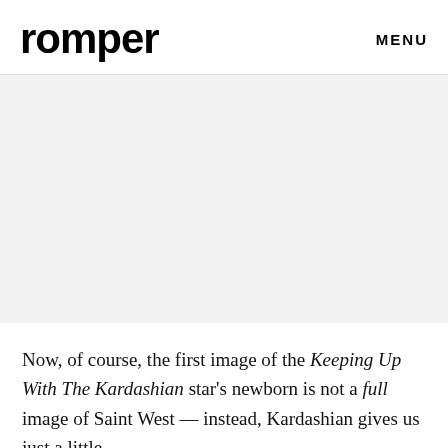romper  MENU
[Figure (photo): Large image placeholder area with light gray background, likely a photo of Saint West or Kim Kardashian]
Now, of course, the first image of the Keeping Up With The Kardashian star's newborn is not a full image of Saint West — instead, Kardashian gives us just a little